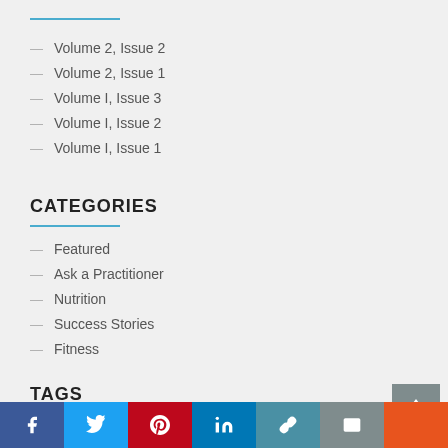Volume 2, Issue 2
Volume 2, Issue 1
Volume I, Issue 3
Volume I, Issue 2
Volume I, Issue 1
CATEGORIES
Featured
Ask a Practitioner
Nutrition
Success Stories
Fitness
TAGS